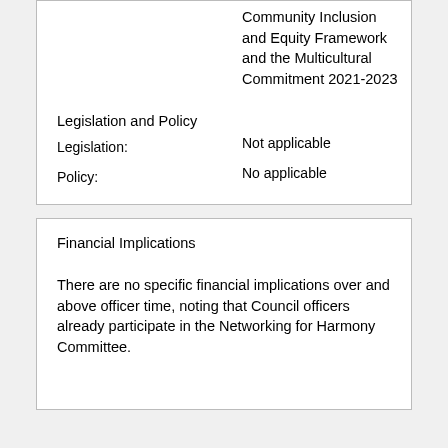Community Inclusion and Equity Framework and the Multicultural Commitment 2021-2023
Legislation and Policy
Legislation:
Not applicable
Policy:
No applicable
Financial Implications
There are no specific financial implications over and above officer time, noting that Council officers already participate in the Networking for Harmony Committee.